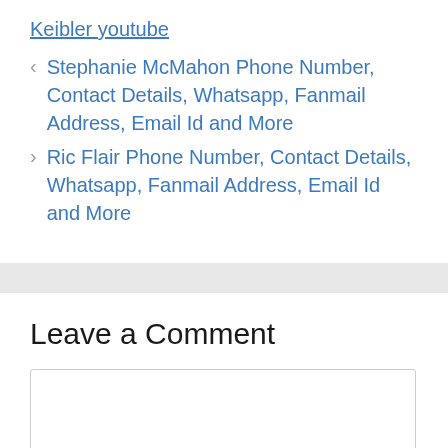Keibler youtube
< Stephanie McMahon Phone Number, Contact Details, Whatsapp, Fanmail Address, Email Id and More
> Ric Flair Phone Number, Contact Details, Whatsapp, Fanmail Address, Email Id and More
Leave a Comment